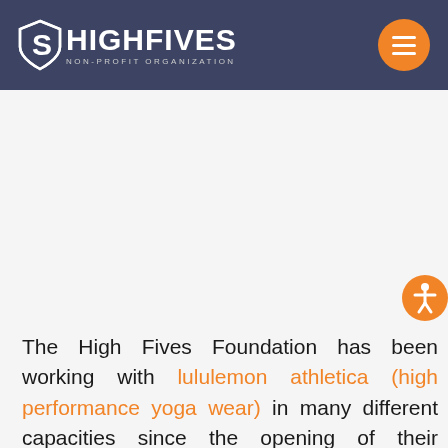HIGH FIVES NON-PROFIT ORGANIZATION
The High Fives Foundation has been working with lululemon athletica (high performance yoga wear) in many different capacities since the opening of their downtown Truckee storefront this past August. To celebrate the partnership, lululemon athletica will host a Community Day highlighting five of their fitness ambassadors with proceeds going to